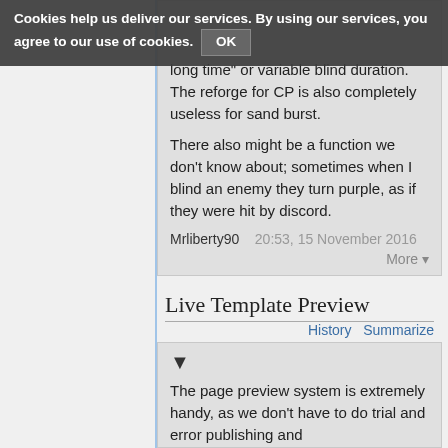Cookies help us deliver our services. By using our services, you agree to our use of cookies. OK
long time" or variable blind duration. The reforge for CP is also completely useless for sand burst.
There also might be a function we don't know about; sometimes when I blind an enemy they turn purple, as if they were hit by discord.
Mrliberty90   20:53, 15 November 2016
Live Template Preview
History   Summarize
▼
The page preview system is extremely handy, as we don't have to do trial and error publishing and